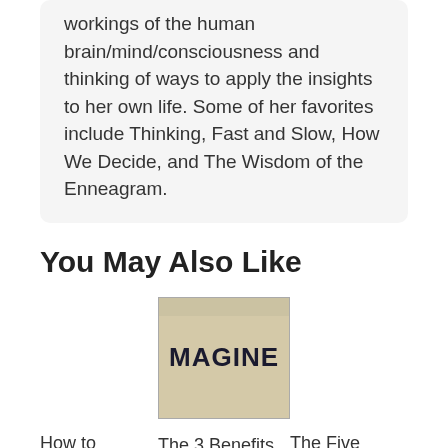workings of the human brain/mind/consciousness and thinking of ways to apply the insights to her own life. Some of her favorites include Thinking, Fast and Slow, How We Decide, and The Wisdom of the Enneagram.
You May Also Like
[Figure (photo): Photo of a book or notebook cover with the word IMAGINE printed in bold uppercase stencil letters on a beige/kraft paper background.]
How to Discipline Kids: The First Step to
The 3 Benefits of Sociological Imagination:
The Five People You Meet in Heaven: The